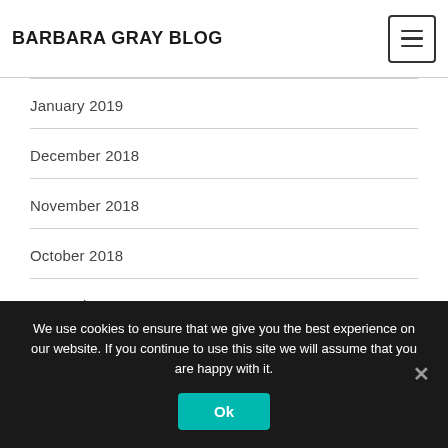BARBARA GRAY BLOG
January 2019
December 2018
November 2018
October 2018
September 2018
August 2018
July 2018
We use cookies to ensure that we give you the best experience on our website. If you continue to use this site we will assume that you are happy with it.